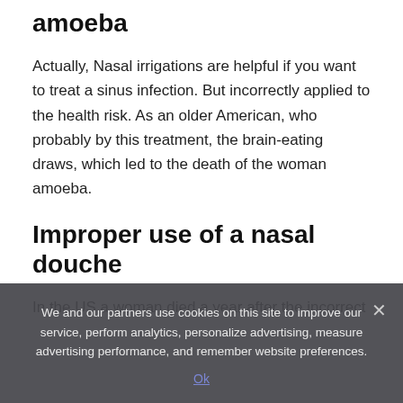amoeba
Actually, Nasal irrigations are helpful if you want to treat a sinus infection. But incorrectly applied to the health risk. As an older American, who probably by this treatment, the brain-eating draws, which led to the death of the woman amoeba.
Improper use of a nasal douche
In the US a woman died a year after the incorrect
We and our partners use cookies on this site to improve our service, perform analytics, personalize advertising, measure advertising performance, and remember website preferences.
Ok